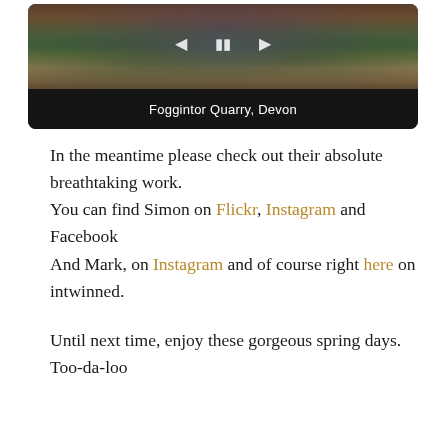[Figure (screenshot): A media player showing a landscape photo of Foggintor Quarry, Devon, with playback controls (back, pause, forward) overlaid on the image and a dark caption bar at the bottom.]
In the meantime please check out their absolute breathtaking work.
You can find Simon on Flickr, Instagram and Facebook
And Mark, on Instagram and of course right here on intwinned.
Until next time, enjoy these gorgeous spring days.
Too-da-loo